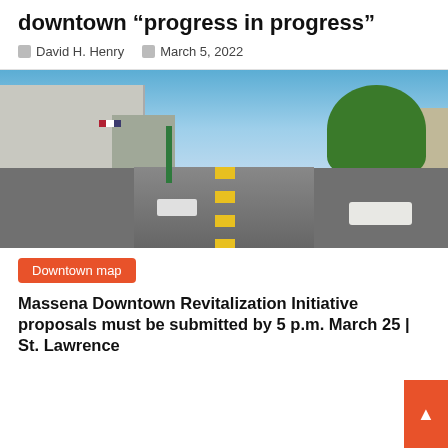downtown “progress in progress”
David H. Henry   March 5, 2022
[Figure (photo): Street-level photo of a downtown main street with historic stone buildings on the left, trees on the right, cars on the road, and an American flag visible. Blue sky with clouds in the background.]
Downtown map
Massena Downtown Revitalization Initiative proposals must be submitted by 5 p.m. March 25 | St. Lawrence